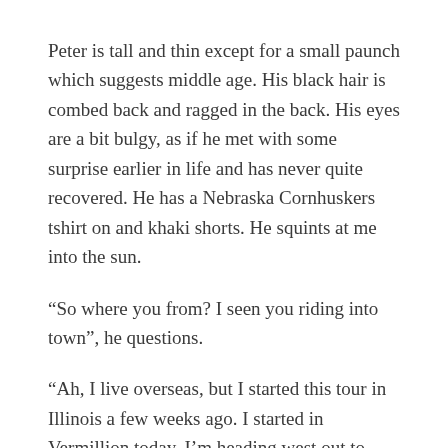Peter is tall and thin except for a small paunch which suggests middle age. His black hair is combed back and ragged in the back. His eyes are a bit bulgy, as if he met with some surprise earlier in life and has never quite recovered. He has a Nebraska Cornhuskers tshirt on and khaki shorts. He squints at me into the sun.
“So where you from? I seen you riding into town”, he questions.
“Ah, I live overseas, but I started this tour in Illinois a few weeks ago. I started in Vermillion today. I’m heading west out to Montana,” pre-empting the second question of ‘where you going’.
“Oh, you look like a real serious cyclist. How